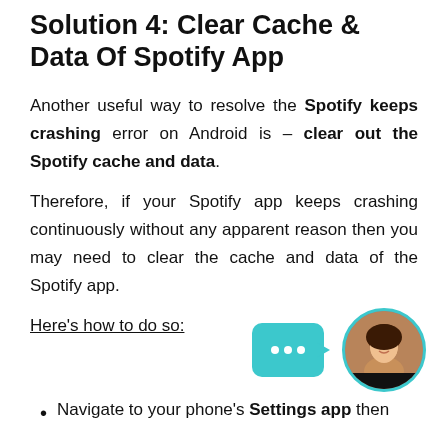Solution 4: Clear Cache & Data Of Spotify App
Another useful way to resolve the Spotify keeps crashing error on Android is – clear out the Spotify cache and data.
Therefore, if your Spotify app keeps crashing continuously without any apparent reason then you may need to clear the cache and data of the Spotify app.
Here's how to do so:
[Figure (illustration): A teal chat bubble with three white dots and a circular avatar photo of a woman with dark hair, with a teal border.]
Navigate to your phone's Settings app then